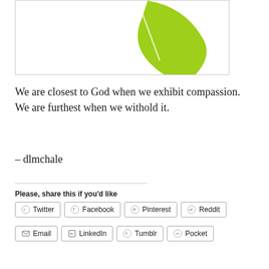[Figure (illustration): Partial view of a lime-green curved shape (likely a logo or decorative element) on white background, with a thin diagonal white line across it.]
We are closest to God when we exhibit compassion. We are furthest when we withold it.
– dlmchale
Please, share this if you'd like
Twitter
Facebook
Pinterest
Reddit
Email
LinkedIn
Tumblr
Pocket